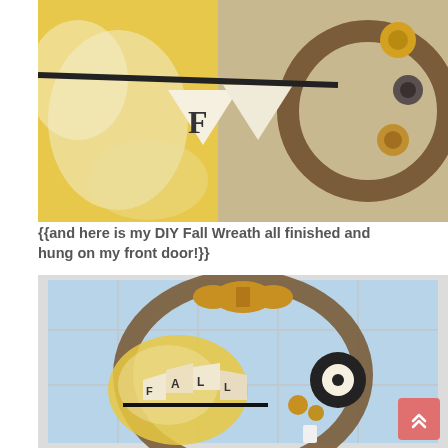[Figure (photo): Close-up photo of a DIY Fall Wreath detail showing yellow and white patterned fabric, a burlap pennant banner with a letter F in black on a black ribbon, and rolled fabric rosettes visible on the right side of a twig wreath.]
{{and here is my DIY Fall Wreath all finished and hung on my front door!}}
[Figure (photo): Photo of a completed DIY Fall Wreath hung on a front door with stained glass window panels. The wreath is made from a twig base decorated with yellow and white patterned fabric, a mustard yellow fabric bow at the top, a burlap banner reading FALL in black letters, black and cream yarn flowers, and small rolled fabric rosettes.]